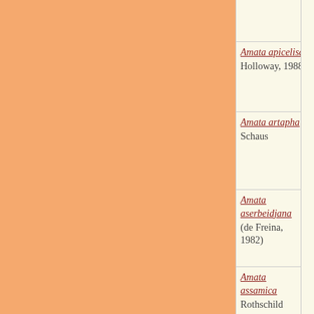[Figure (photo): Empty image cell at top]
Amata apicelisa Holloway, 1988
[Figure (photo): Empty image cell]
Amata artapha Schaus
[Figure (photo): Empty image cell]
Amata aserbeidjana (de Freina, 1982)
[Figure (photo): Empty image cell]
Amata assamica Rothschild
[Figure (photo): Empty image cell]
Amata atricornis